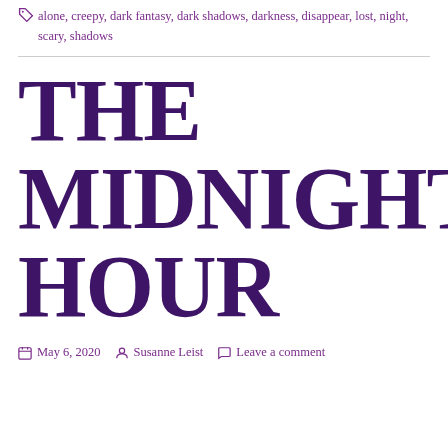alone, creepy, dark fantasy, dark shadows, darkness, disappear, lost, night, scary, shadows
THE MIDNIGHT HOUR
May 6, 2020   Susanne Leist   Leave a comment